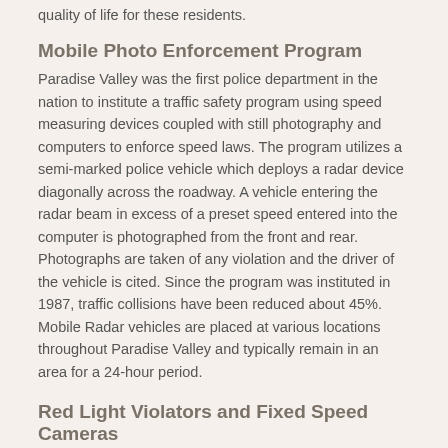quality of life for these residents.
Mobile Photo Enforcement Program
Paradise Valley was the first police department in the nation to institute a traffic safety program using speed measuring devices coupled with still photography and computers to enforce speed laws. The program utilizes a semi-marked police vehicle which deploys a radar device diagonally across the roadway. A vehicle entering the radar beam in excess of a preset speed entered into the computer is photographed from the front and rear. Photographs are taken of any violation and the driver of the vehicle is cited. Since the program was instituted in 1987, traffic collisions have been reduced about 45%. Mobile Radar vehicles are placed at various locations throughout Paradise Valley and typically remain in an area for a 24-hour period.
Red Light Violators and Fixed Speed Cameras
The Paradise Valley Police Department also has a photo